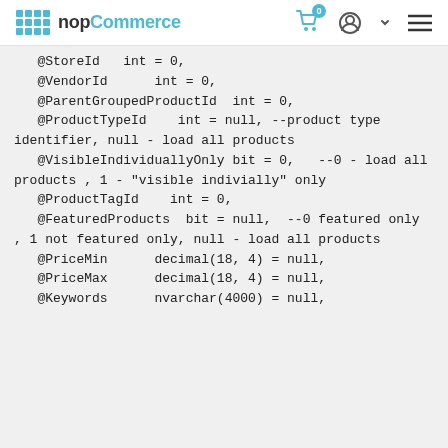nopCommerce
@StoreId   int = 0,
    @VendorId      int = 0,
    @ParentGroupedProductId  int = 0,
    @ProductTypeId     int = null, --product type identifier, null - load all products
    @VisibleIndividuallyOnly bit = 0,   --0 - load all products , 1 - "visible indivially" only
    @ProductTagId     int = 0,
    @FeaturedProducts  bit = null,  --0 featured only , 1 not featured only, null - load all products
    @PriceMin      decimal(18, 4) = null,
    @PriceMax      decimal(18, 4) = null,
    @Keywords      nvarchar(4000) = null,